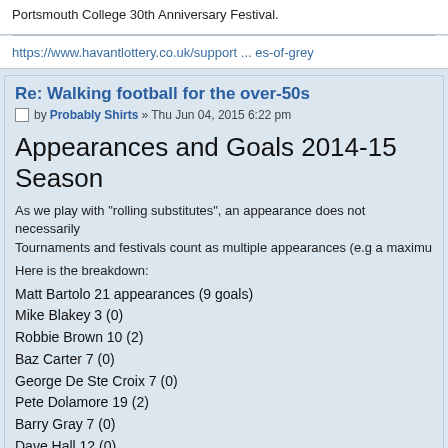Portsmouth College 30th Anniversary Festival.
https://www.havantlottery.co.uk/support ... es-of-grey
Re: Walking football for the over-50s
by Probably Shirts » Thu Jun 04, 2015 6:22 pm
Appearances and Goals 2014-15 Season
As we play with "rolling substitutes", an appearance does not necessarily Tournaments and festivals count as multiple appearances (e.g a maximu
Here is the breakdown:
Matt Bartolo 21 appearances (9 goals)
Mike Blakey 3 (0)
Robbie Brown 10 (2)
Baz Carter 7 (0)
George De Ste Croix 7 (0)
Pete Dolamore 19 (2)
Barry Gray 7 (0)
Dave Hall 12 (0)
John Hicks 7 (0)
Mo Hill 18 (0)